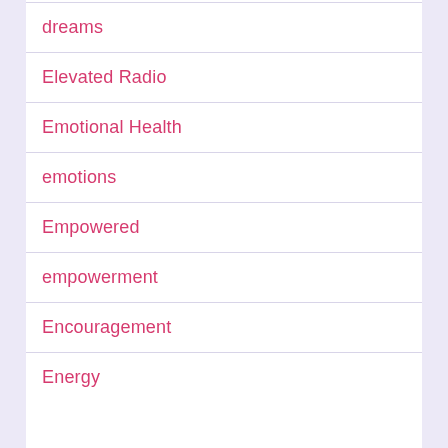dreams
Elevated Radio
Emotional Health
emotions
Empowered
empowerment
Encouragement
Energy